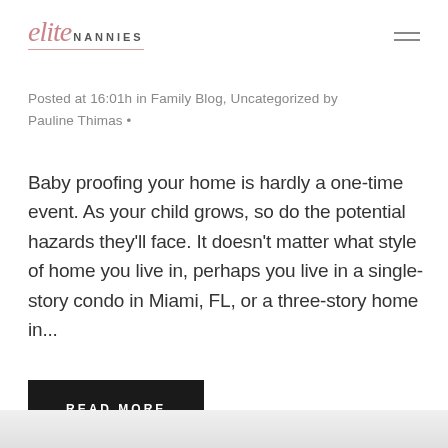elite NANNIES
Posted at 16:01h in Family Blog, Uncategorized by Pauline Thimas •
Baby proofing your home is hardly a one-time event. As your child grows, so do the potential hazards they'll face. It doesn't matter what style of home you live in, perhaps you live in a single-story condo in Miami, FL, or a three-story home in...
READ MORE